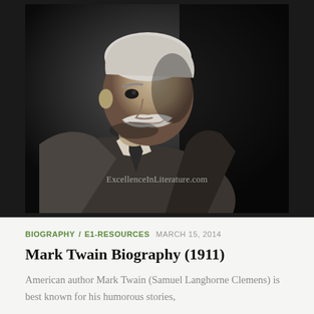[Figure (photo): Black and white portrait photograph of Mark Twain (Samuel Langhorne Clemens), an elderly man with white hair and a large white mustache, wearing a suit and tie, photographed in profile looking upward to the right. Watermark reads ExcellenceInLiterature.com]
BIOGRAPHY / E1-RESOURCES  MARCH 15, 2014
Mark Twain Biography (1911)
American author Mark Twain (Samuel Langhorne Clemens) is best known for his humorous stories,